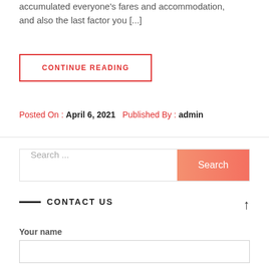accumulated everyone's fares and accommodation, and also the last factor you [...]
CONTINUE READING
Posted On : April 6, 2021   Published By : admin
Search ...
CONTACT US
Your name